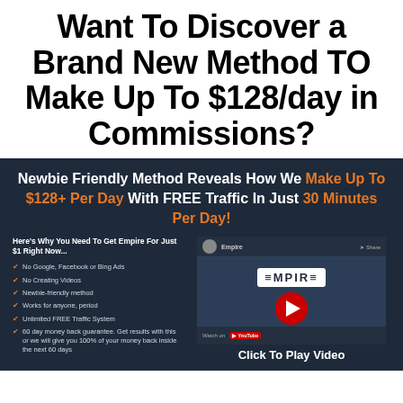Want To Discover a Brand New Method TO Make Up To $128/day in Commissions?
Newbie Friendly Method Reveals How We Make Up To $128+ Per Day With FREE Traffic In Just 30 Minutes Per Day!
Here's Why You Need To Get Empire For Just $1 Right Now...
No Google, Facebook or Bing Ads
No Creating Videos
Newbie-friendly method
Works for anyone, period
Unlimited FREE Traffic System
60 day money back guarantee. Get results with this or we will give you 100% of your money back inside the next 60 days
[Figure (screenshot): YouTube-style video thumbnail showing Empire channel logo and play button, with 'Click To Play Video' text below]
Click To Play Video